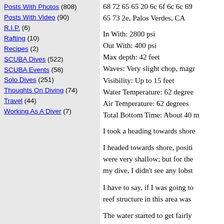Posts With Photos (808)
Posts With Video (90)
R.I.P. (6)
Rafting (10)
Recipes (2)
SCUBA Dives (522)
SCUBA Events (58)
Solo Dives (251)
Thoughts On Diving (74)
Travel (44)
Working As A Diver (7)
68 72 65 65 20 6c 6f 6c 6c 69 65 73 2e, Palos Verdes, CA
In With: 2800 psi
Out With: 400 psi
Max depth: 42 feet
Waves: Very slight chop, magr
Visibility: Up to 15 feet
Water Temperature: 62 degree
Air Temperature: 62 degrees
Total Bottom Time: About 40 m
I took a heading towards shore
I headed towards shore, positi were very shallow; but for the my dive, I didn't see any lobst
I have to say, if I was going to reef structure in this area was
The water started to get fairly washing back and forth, gettin
I checked my depth gauge – I